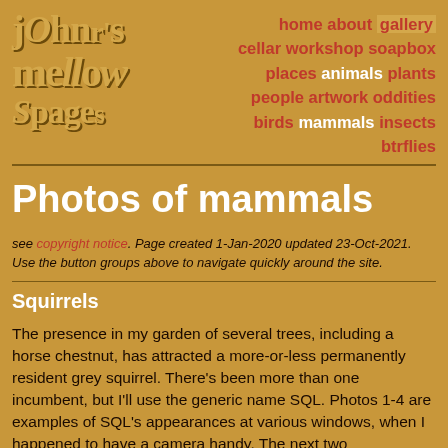johnr's mellow pages
home about gallery cellar workshop soapbox places animals plants people artwork oddities birds mammals insects btrflies
Photos of mammals
see copyright notice. Page created 1-Jan-2020 updated 23-Oct-2021. Use the button groups above to navigate quickly around the site.
Squirrels
The presence in my garden of several trees, including a horse chestnut, has attracted a more-or-less permanently resident grey squirrel. There's been more than one incumbent, but I'll use the generic name SQL. Photos 1-4 are examples of SQL's appearances at various windows, when I happened to have a camera handy. The next two demonstrate its skill at clinging, upside down, to almost any vertical surface. There are few sounds more irritating than SQL scurrying up and down the pebble-dashed walls in the early morning (often accompanied by the